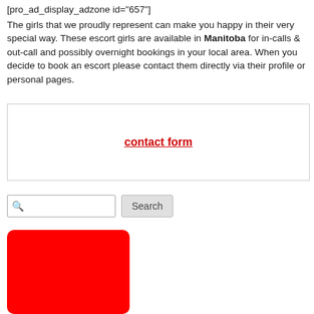[pro_ad_display_adzone id="657"]
The girls that we proudly represent can make you happy in their very special way. These escort girls are available in Manitoba for in-calls & out-call and possibly overnight bookings in your local area. When you decide to book an escort please contact them directly via their profile or personal pages.
contact form
[Figure (screenshot): Search bar with magnifying glass icon and Search button]
[Figure (other): Solid red rectangle with rounded corners]